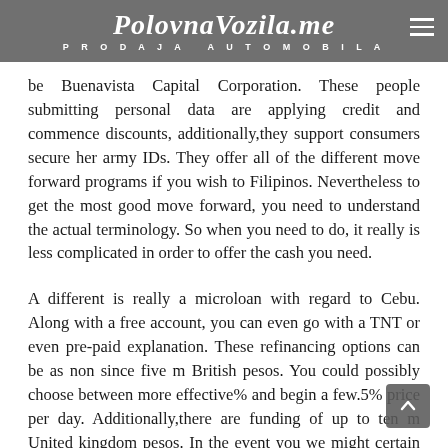PolovnaVozila.me PRODAJA AUTOMOBILA
be Buenavista Capital Corporation. These people submitting personal data are applying credit and commence discounts, additionally,they support consumers secure her army IDs. They offer all of the different move forward programs if you wish to Filipinos. Nevertheless to get the most good move forward, you need to understand the actual terminology. So when you need to do, it really is less complicated in order to offer the cash you need.
A different is really a microloan with regard to Cebu. Along with a free account, you can even go with a TNT or even pre-paid explanation. These refinancing options can be as non since five m British pesos. You could possibly choose between more effective% and begin a few.5% price per day. Additionally,there are funding of up to ten m United kingdom pesos. In the event you we might certain inside slot, you could possibly select a different move forward.